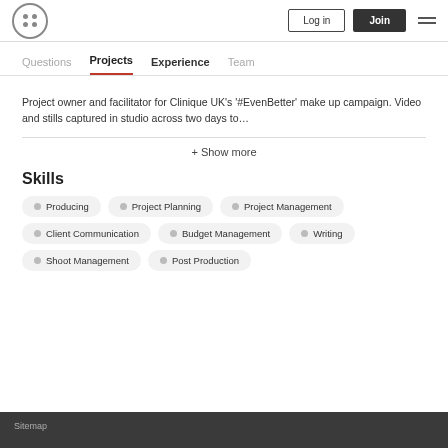Log in  Join
Questions  Projects  Experience  Team
Project owner and facilitator for Clinique UK's '#EvenBetter' make up campaign. Video and stills captured in studio across two days to…
+ Show more
Skills
Producing
Project Planning
Project Management
Client Communication
Budget Management
Writing
Shoot Management
Post Production
Sitemap